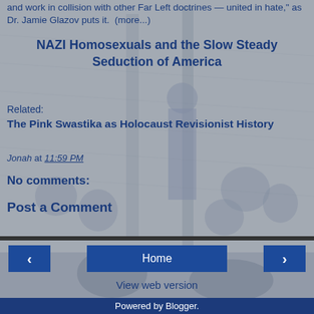and work in collision with other Far Left doctrines — united in hate," as Dr. Jamie Glazov puts it.  (more...)
NAZI Homosexuals and the Slow Steady Seduction of America
Related:
The Pink Swastika as Holocaust Revisionist History
Jonah at 11:59 PM
No comments:
Post a Comment
[Figure (illustration): Background: grayscale engraving illustration of a biblical or classical scene with robed figures]
Home
View web version
Powered by Blogger.